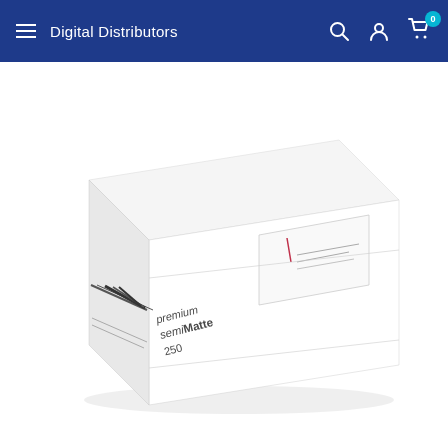Digital Distributors
[Figure (photo): A white rectangular box of Premium SemiMatte 250 photo paper roll, shown in a 3/4 perspective view on a white background. The box label reads 'premium semiMatte 250' on the front/side face.]